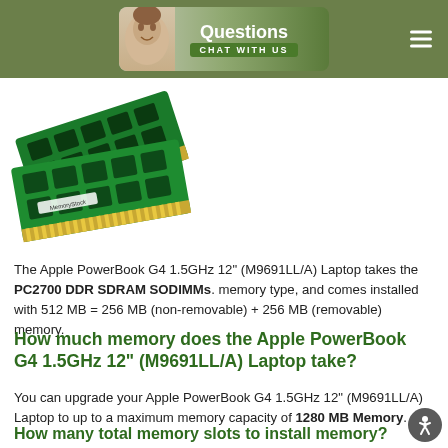Questions CHAT WITH US
[Figure (photo): Two green RAM memory sticks (PC2700 DDR SDRAM SODIMMs) with MemoryStock branding, shown at an angle on a white background.]
The Apple PowerBook G4 1.5GHz 12" (M9691LL/A) Laptop takes the PC2700 DDR SDRAM SODIMMs. memory type, and comes installed with 512 MB = 256 MB (non-removable) + 256 MB (removable) memory.
How much memory does the Apple PowerBook G4 1.5GHz 12" (M9691LL/A) Laptop take?
You can upgrade your Apple PowerBook G4 1.5GHz 12" (M9691LL/A) Laptop to up to a maximum memory capacity of 1280 MB Memory.
How many total memory slots to install memory?
The Laptop has 1 socket to install memory, already with 512 MB = 256 MB (non-removable) + 256 MB (removable) standard memory installed.